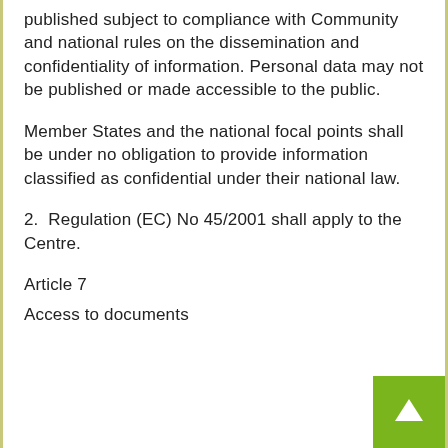published subject to compliance with Community and national rules on the dissemination and confidentiality of information. Personal data may not be published or made accessible to the public.
Member States and the national focal points shall be under no obligation to provide information classified as confidential under their national law.
2.  Regulation (EC) No 45/2001 shall apply to the Centre.
Article 7
Access to documents